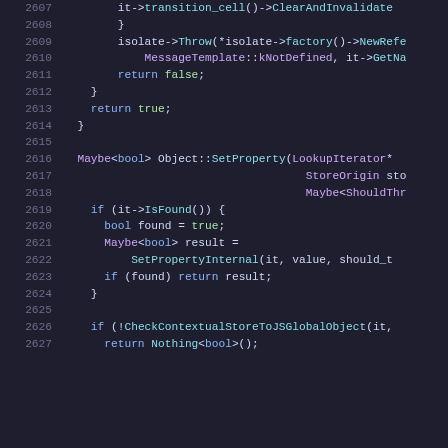[Figure (screenshot): Source code listing in a dark-themed code editor showing C++ code lines 2607-2627, with syntax highlighting. Line numbers shown in gray on left, keywords in blue, types/template names in purple, function calls in cyan.]